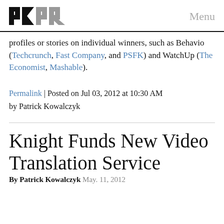PKPR Menu
profiles or stories on individual winners, such as Behavio (Techcrunch, Fast Company, and PSFK) and WatchUp (The Economist, Mashable).
Permalink | Posted on Jul 03, 2012 at 10:30 AM by Patrick Kowalczyk
Knight Funds New Video Translation Service
By Patrick Kowalczyk  May. 11, 2012